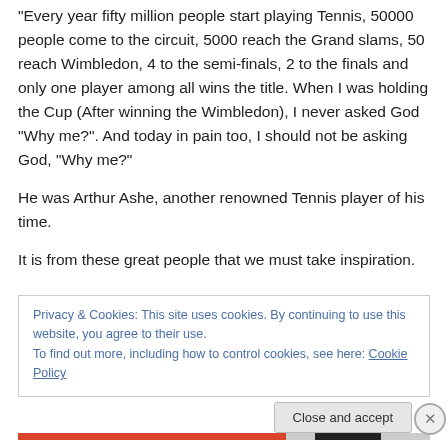“Every year fifty million people start playing Tennis, 50000 people come to the circuit, 5000 reach the Grand slams, 50 reach Wimbledon, 4 to the semi-finals, 2 to the finals and only one player among all wins the title. When I was holding the Cup (After winning the Wimbledon), I never asked God “Why me?”. And today in pain too, I should not be asking God, “Why me?”
He was Arthur Ashe, another renowned Tennis player of his time.
It is from these great people that we must take inspiration.
Privacy & Cookies: This site uses cookies. By continuing to use this website, you agree to their use.
To find out more, including how to control cookies, see here: Cookie Policy